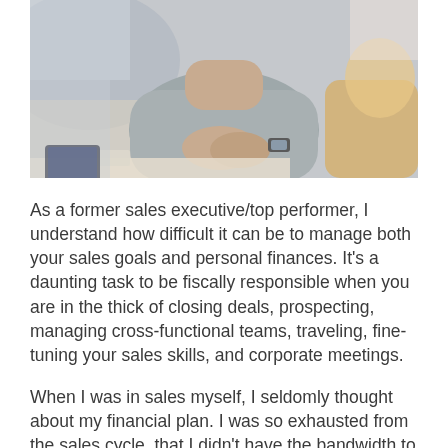[Figure (photo): A person in a grey sweater sitting at a table with hands clasped, wearing a watch, with papers and a tablet visible. Another person partially visible to the right.]
As a former sales executive/top performer, I understand how difficult it can be to manage both your sales goals and personal finances. It's a daunting task to be fiscally responsible when you are in the thick of closing deals, prospecting, managing cross-functional teams, traveling, fine-tuning your sales skills, and corporate meetings.
When I was in sales myself, I seldomly thought about my financial plan. I was so exhausted from the sales cycle, that I didn't have the bandwidth to learn or even think about investments, deferred compensation, tax